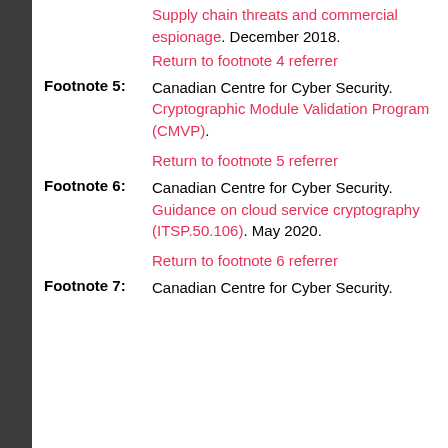Supply chain threats and commercial espionage. December 2018.
Return to footnote 4 referrer
Footnote 5: Canadian Centre for Cyber Security. Cryptographic Module Validation Program (CMVP).
Return to footnote 5 referrer
Footnote 6: Canadian Centre for Cyber Security. Guidance on cloud service cryptography (ITSP.50.106). May 2020.
Return to footnote 6 referrer
Footnote 7: Canadian Centre for Cyber Security.